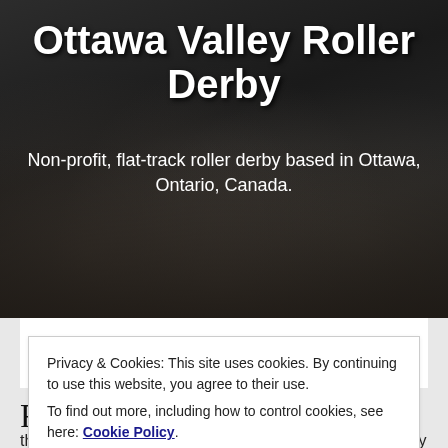[Figure (photo): Black and white group photo of roller derby athletes used as background banner]
Ottawa Valley Roller Derby
Non-profit, flat-track roller derby based in Ottawa, Ontario, Canada.
☰ Menu
Roller Derby Double Header
Privacy & Cookies: This site uses cookies. By continuing to use this website, you agree to their use.
To find out more, including how to control cookies, see here: Cookie Policy
Close and accept
the sport when the athletes of Ottawa Junior Roller Derby